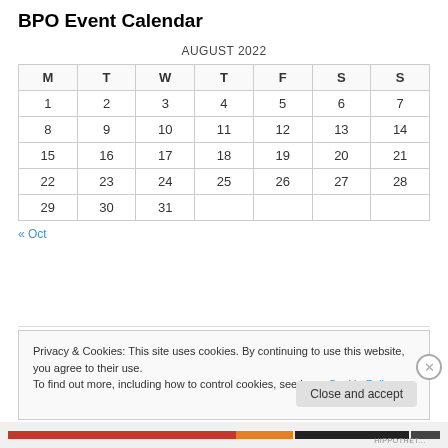BPO Event Calendar
| M | T | W | T | F | S | S |
| --- | --- | --- | --- | --- | --- | --- |
| 1 | 2 | 3 | 4 | 5 | 6 | 7 |
| 8 | 9 | 10 | 11 | 12 | 13 | 14 |
| 15 | 16 | 17 | 18 | 19 | 20 | 21 |
| 22 | 23 | 24 | 25 | 26 | 27 | 28 |
| 29 | 30 | 31 |  |  |  |  |
« Oct
Privacy & Cookies: This site uses cookies. By continuing to use this website, you agree to their use.
To find out more, including how to control cookies, see here: Cookie Policy
Close and accept